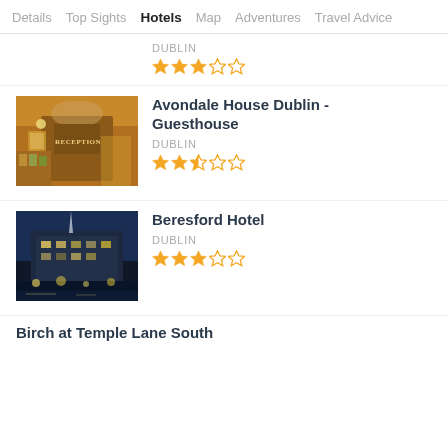Details  Top Sights  Hotels  Map  Adventures  Travel Advice
DUBLIN
[Figure (other): Star rating: 3 out of 5 stars (3 filled, 2 empty)]
[Figure (photo): Interior of a hotel reception area with wooden signage and brochure displays]
Avondale House Dublin - Guesthouse
DUBLIN
[Figure (other): Star rating: 2.5 out of 5 stars (2 filled, 1 half, 2 empty)]
[Figure (photo): Night exterior shot of Beresford Hotel with lights illuminating the building]
Beresford Hotel
DUBLIN
[Figure (other): Star rating: 3 out of 5 stars (3 filled, 2 empty)]
Birch at Temple Lane South